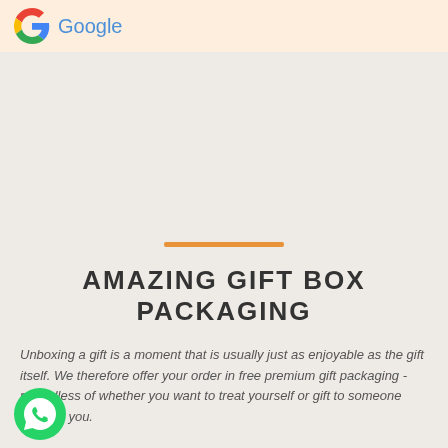Google
AMAZING GIFT BOX PACKAGING
Unboxing a gift is a moment that is usually just as enjoyable as the gift itself. We therefore offer your order in free premium gift packaging - regardless of whether you want to treat yourself or gift to someone close to you.